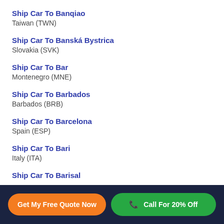Ship Car To Banqiao
Taiwan (TWN)
Ship Car To Banská Bystrica
Slovakia (SVK)
Ship Car To Bar
Montenegro (MNE)
Ship Car To Barbados
Barbados (BRB)
Ship Car To Barcelona
Spain (ESP)
Ship Car To Bari
Italy (ITA)
Ship Car To Barisal
Get My Free Quote Now
Call For 20% Off